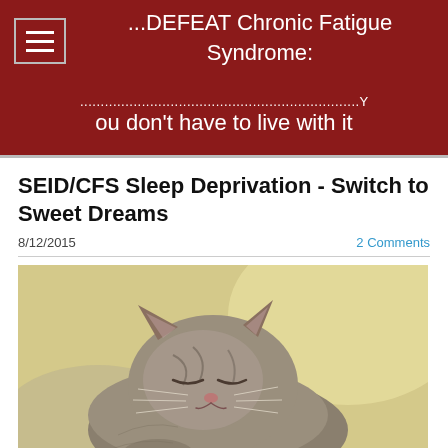...DEFEAT Chronic Fatigue Syndrome: ...............................................................................You don't have to live with it
SEID/CFS Sleep Deprivation - Switch to Sweet Dreams
8/12/2015
2 Comments
[Figure (photo): A sleeping kitten curled up, photographed close-up showing its face and fur]